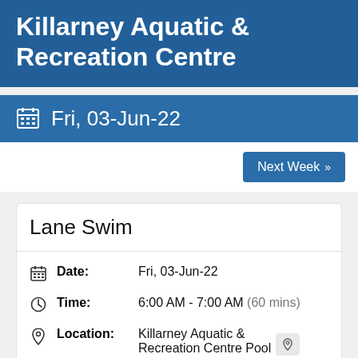Killarney Aquatic & Recreation Centre
Fri, 03-Jun-22
Next Week »
Lane Swim
Date: Fri, 03-Jun-22
Time: 6:00 AM - 7:00 AM (60 mins)
Location: Killarney Aquatic & Recreation Centre Pool